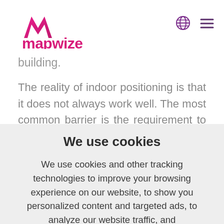[Figure (logo): Mapwize logo with pink/magenta mountain-like icon and 'mapwize' text in pink/magenta]
building.
The reality of indoor positioning is that it does not always work well. The most common barrier is the requirement to install expensive hardware to make it fully functional. For users who desire a less expensive solution, the
We use cookies
We use cookies and other tracking technologies to improve your browsing experience on our website, to show you personalized content and targeted ads, to analyze our website traffic, and